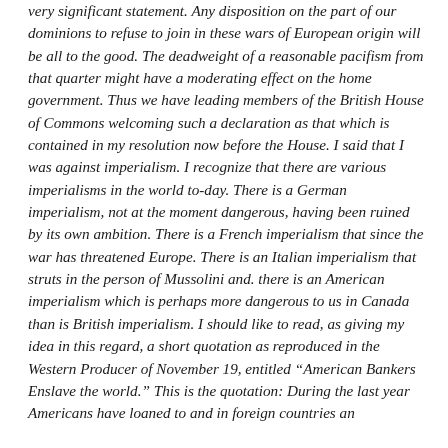very significant statement. Any disposition on the part of our dominions to refuse to join in these wars of European origin will be all to the good. The deadweight of a reasonable pacifism from that quarter might have a moderating effect on the home government. Thus we have leading members of the British House of Commons welcoming such a declaration as that which is contained in my resolution now before the House. I said that I was against imperialism. I recognize that there are various imperialisms in the world to-day. There is a German imperialism, not at the moment dangerous, having been ruined by its own ambition. There is a French imperialism that since the war has threatened Europe. There is an Italian imperialism that struts in the person of Mussolini and. there is an American imperialism which is perhaps more dangerous to us in Canada than is British imperialism. I should like to read, as giving my idea in this regard, a short quotation as reproduced in the Western Producer of November 19, entitled "American Bankers Enslave the world." This is the quotation: During the last year Americans have loaned to and in foreign countries an